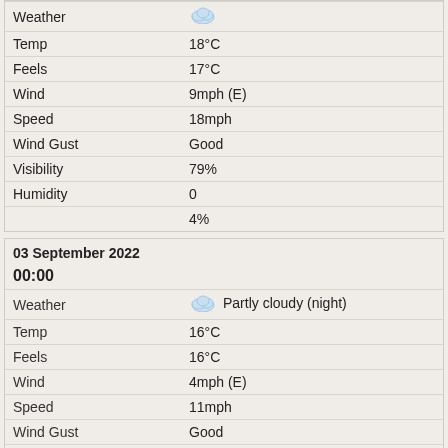| Field | Value |
| --- | --- |
| Weather |  |
| Temp | 18°C |
| Feels | 17°C |
| Wind | 9mph (E) |
| Speed | 18mph |
| Wind Gust | Good |
| Visibility | 79% |
| Humidity | 0 |
|  | 4% |
03 September 2022
00:00
| Field | Value |
| --- | --- |
| Weather | Partly cloudy (night) |
| Temp | 16°C |
| Feels | 16°C |
| Wind | 4mph (E) |
| Speed | 11mph |
| Wind Gust | Good |
| Visibility | 89% |
| Humidity | 0 |
|  | 1% |
03:00
| Field | Value |
| --- | --- |
| Weather | Cloudy (Medium-Level) |
| Temp | 16°C |
| Feels | 16°C |